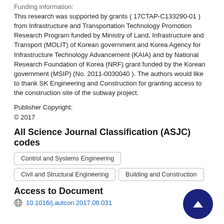Funding information:
This research was supported by grants ( 17CTAP-C133290-01 ) from Infrastructure and Transportation Technology Promotion Research Program funded by Ministry of Land, Infrastructure and Transport (MOLIT) of Korean government and Korea Agency for Infrastructure Technology Advancement (KAIA) and by National Research Foundation of Korea (NRF) grant funded by the Korean government (MSIP) (No. 2011-0030040 ). The authors would like to thank SK Engineering and Construction for granting access to the construction site of the subway project.
Publisher Copyright:
© 2017
All Science Journal Classification (ASJC) codes
Control and Systems Engineering
Civil and Structural Engineering
Building and Construction
Access to Document
10.1016/j.autcon.2017.08.031